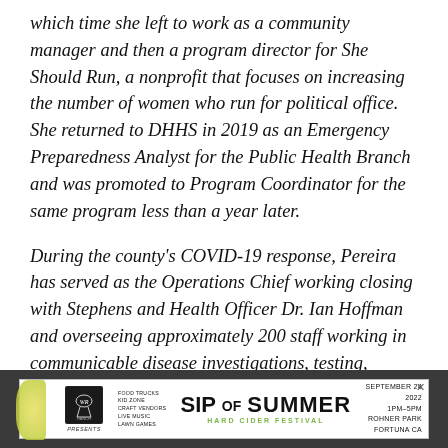which time she left to work as a community manager and then a program director for She Should Run, a nonprofit that focuses on increasing the number of women who run for political office. She returned to DHHS in 2019 as an Emergency Preparedness Analyst for the Public Health Branch and was promoted to Program Coordinator for the same program less than a year later.
During the county's COVID-19 response, Pereira has served as the Operations Chief working closing with Stephens and Health Officer Dr. Ian Hoffman and overseeing approximately 200 staff working in communicable disease investigations, testing, human services and vaccination.
[Figure (infographic): Advertisement banner for 'Sip of Summer Hard Cider Festival' presented by Wild Roots Ranch. Event details: Food Trucks, Kid Zone, Craft Vendors, Live Music, Lawn Games. September 24, 2022, 1PM–5PM, Rohner Park, Fortuna CA.]